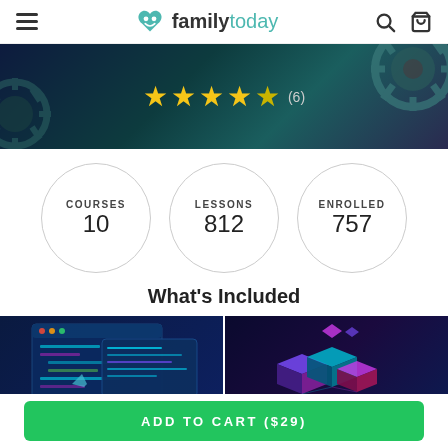family today
[Figure (illustration): Dark teal/navy background with gear/wheel decorative elements and 4.5 star rating showing (6) reviews]
COURSES 10   LESSONS 812   ENROLLED 757
What's Included
[Figure (screenshot): Two course thumbnail images side by side: left shows blue coding/programming interface illustration, right shows purple/pink server/data infrastructure illustration]
ADD TO CART ($29)